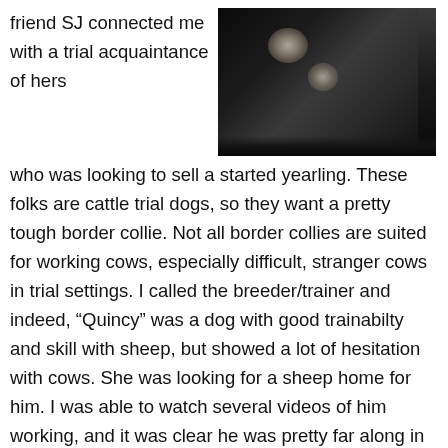friend SJ connected me with a trial acquaintance of hers
[Figure (photo): Dark photograph showing what appears to be a dog or animal in a dimly lit setting near a wall or baseboard.]
who was looking to sell a started yearling. These folks are cattle trial dogs, so they want a pretty tough border collie. Not all border collies are suited for working cows, especially difficult, stranger cows in trial settings. I called the breeder/trainer and indeed, “Quincy” was a dog with good trainabilty and skill with sheep, but showed a lot of hesitation with cows. She was looking for a sheep home for him. I was able to watch several videos of him working, and it was clear he was pretty far along in his schooling, and had very good natural skill and balance with sheep. His style was very much what is useful for me, here: a gentle, thoughtful dog that listens carefully to his handler.